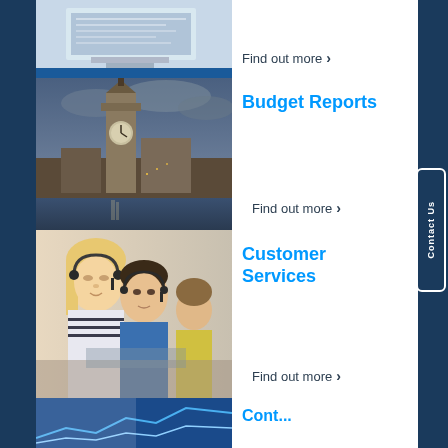Find out more >
Budget Reports
Find out more >
Customer Services
Find out more >
[Figure (photo): Computer monitor with documents on screen]
[Figure (photo): Big Ben and Houses of Parliament, London]
[Figure (photo): Customer service agents wearing headsets]
[Figure (photo): Partial view of financial chart]